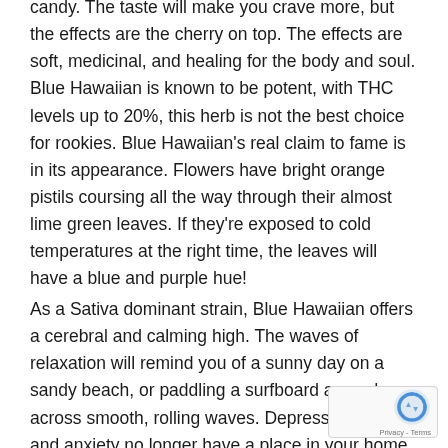candy. The taste will make you crave more, but the effects are the cherry on top. The effects are soft, medicinal, and healing for the body and soul. Blue Hawaiian is known to be potent, with THC levels up to 20%, this herb is not the best choice for rookies. Blue Hawaiian's real claim to fame is in its appearance. Flowers have bright orange pistils coursing all the way through their almost lime green leaves. If they're exposed to cold temperatures at the right time, the leaves will have a blue and purple hue!
As a Sativa dominant strain, Blue Hawaiian offers a cerebral and calming high. The waves of relaxation will remind you of a sunny day on a sandy beach, or paddling a surfboard around across smooth, rolling waves. Depression, stress, and anxiety no longer have a place in your home. This beautiful strain is a breath of fresh air after a tiresome against depression. Blue Hawaiian is ideal to relieve pain, anxiety, and stress. It is effective in treating headaches